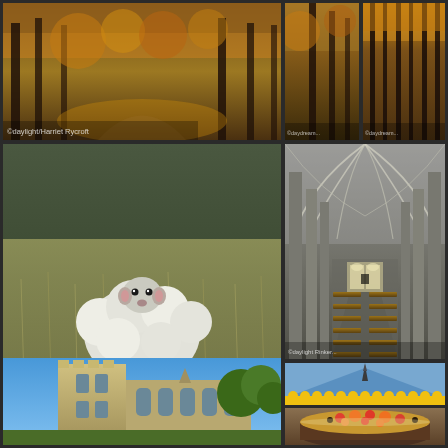[Figure (photo): Autumn forest path with golden-orange foliage and sunlight filtering through trees]
[Figure (photo): Autumn forest with tall trees and orange/brown foliage on a hillside]
[Figure (photo): Autumn forest with tall thin tree trunks and orange foliage canopy]
[Figure (photo): White sheep standing in a dry grass field, looking at camera, copyright Harriet Rycroft]
[Figure (photo): Interior of a Gothic cathedral with vaulted ceiling, tall columns, and large stained glass window at the end]
[Figure (photo): Exterior of a medieval stone church or abbey with square tower under blue sky]
[Figure (photo): Blue building rooftop detail with yellow decorative trim and a metal spike/finial]
[Figure (photo): Decorative fruit cake or dessert topped with colorful fruit slices on a plate]